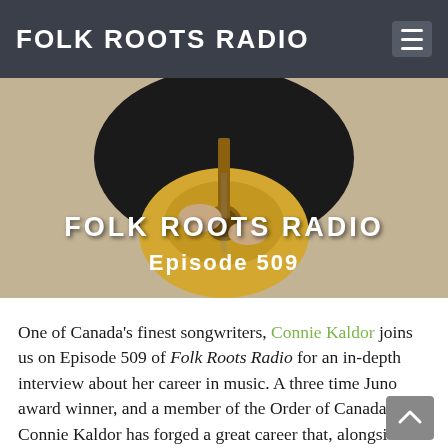FOLK ROOTS RADIO
[Figure (photo): Person in black clothing playing an acoustic guitar, with overlay text reading FOLK ROOTS RADIO Episode 509]
One of Canada's finest songwriters, Connie Kaldor joins us on Episode 509 of Folk Roots Radio for an in-depth interview about her career in music. A three time Juno award winner, and a member of the Order of Canada, Connie Kaldor has forged a great career that, alongside some great albums, has also included CD books for children, musicals and music for both film and web-series